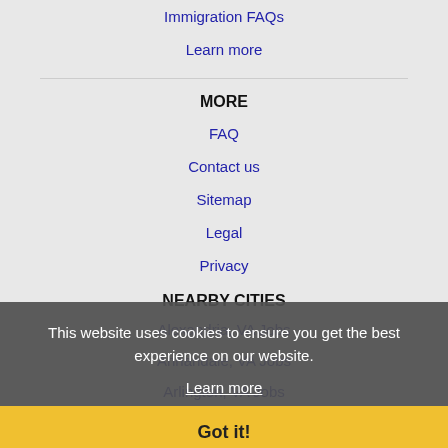Immigration FAQs
Learn more
MORE
FAQ
Contact us
Sitemap
Legal
Privacy
NEARBY CITIES
Alexandria, VA Jobs
Annandale, VA Jobs
Arlington, VA Jobs
Aspen Hill, MD Jobs
Baltimore, MD Jobs
Bel Air North, MD Jobs
This website uses cookies to ensure you get the best experience on our website.
Learn more
Got it!